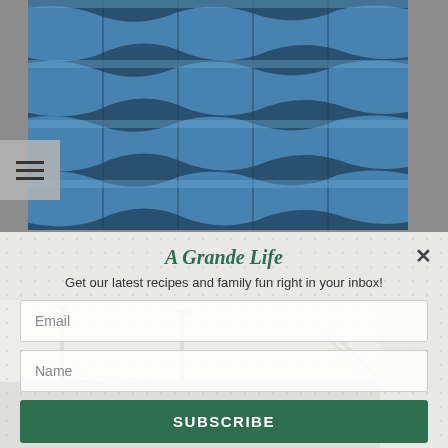[Figure (photo): Close-up photo of blue stadium/arena seats arranged in rows, viewed from above at an angle]
[Figure (photo): Black and white photo of stadium structure showing railings, steps, and architectural elements]
A Grande Life
Get our latest recipes and family fun right in your inbox!
Email
Name
SUBSCRIBE